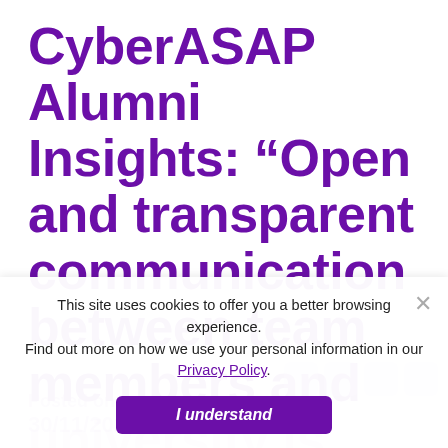CyberASAP Alumni Insights: “Open and transparent communication between team members and university is key to a successful project”
Posted on:
30/11/2021
This site uses cookies to offer you a better browsing experience. Find out more on how we use your personal information in our Privacy Policy.